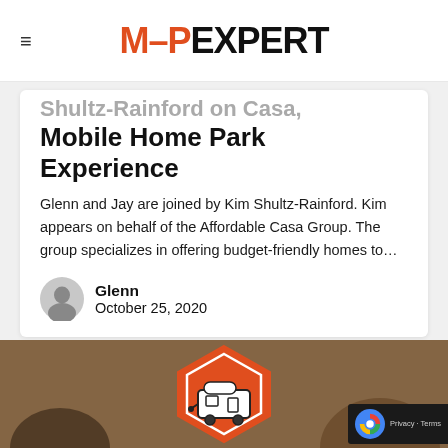MHP EXPERT
Shultz-Rainford on Casa Mobile Home Park Experience
Glenn and Jay are joined by Kim Shultz-Rainford. Kim appears on behalf of the Affordable Casa Group. The group specializes in offering budget-friendly homes to...
Glenn
October 25, 2020
[Figure (photo): Orange hexagon logo with mobile home/trailer illustration, on a brownish background photo]